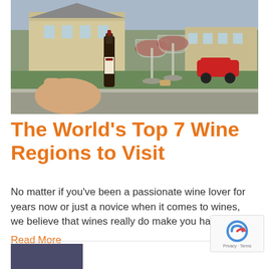[Figure (photo): A person holding a wine bottle beside two glasses of red wine on a stone ledge, with a green lawn and buildings in the background, and a red car visible.]
The World's Top 7 Wine Regions to Visit
No matter if you've been a passionate wine lover for years now or just a novice when it comes to wines, we believe that wines really do make you happy,...
Read More